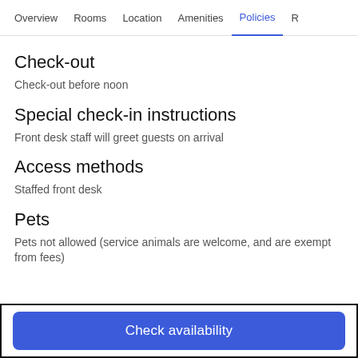Overview | Rooms | Location | Amenities | Policies | R
Check-out
Check-out before noon
Special check-in instructions
Front desk staff will greet guests on arrival
Access methods
Staffed front desk
Pets
Pets not allowed (service animals are welcome, and are exempt from fees)
Check availability